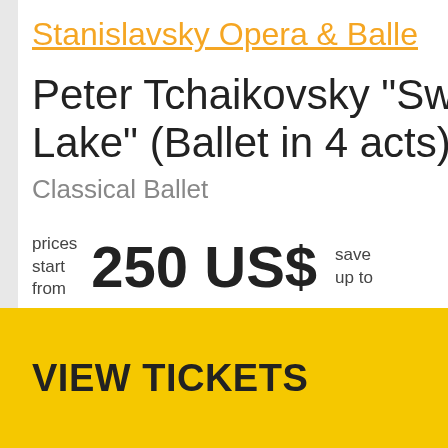Stanislavsky Opera & Balle
Peter Tchaikovsky "Sw... Lake" (Ballet in 4 acts)
Classical Ballet
prices start from   250 US$   save up to
VIEW TICKETS